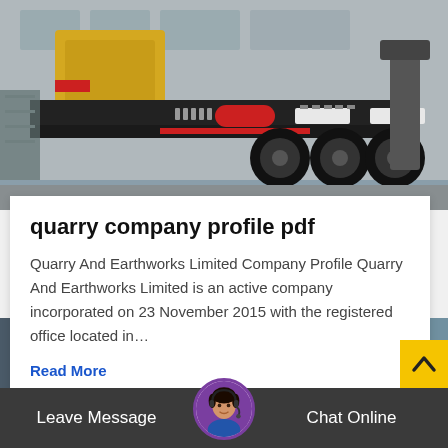[Figure (photo): Mobile crusher / quarry equipment on a trailer, photographed in front of an industrial building. The machine is dark grey/black with yellow and red accents.]
quarry company profile pdf
Quarry And Earthworks Limited Company Profile Quarry And Earthworks Limited is an active company incorporated on 23 November 2015 with the registered office located in…
Read More
[Figure (photo): Partial view of heavy construction/quarry equipment at the bottom of the page.]
Leave Message
Chat Online